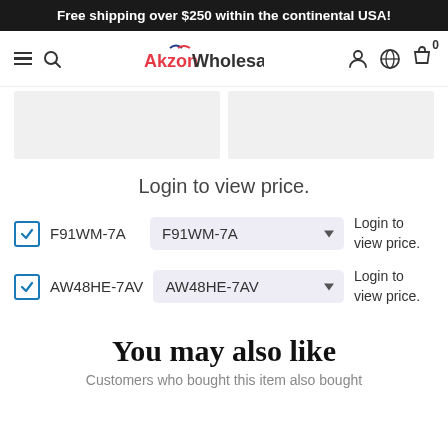Free shipping over $250 within the continental USA!
[Figure (screenshot): Website navigation bar with hamburger menu, search icon, AkzonWholesale.com logo, user account icon, globe icon, and shopping bag icon with 0 badge]
[Figure (photo): Two gray placeholder image boxes side by side for product images]
Login to view price.
F91WM-7A  F91WM-7A  Login to view price.
AW48HE-7AV  AW48HE-7AV  Login to view price.
You may also like
Customers who bought this item also bought